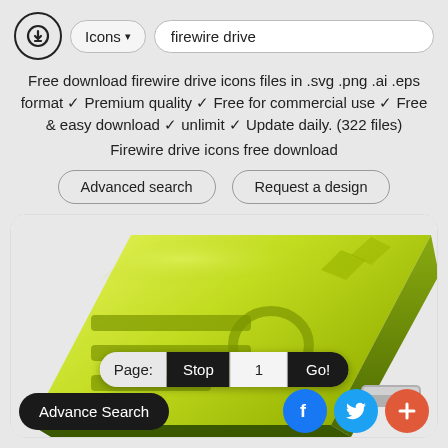Icons ▾   firewire drive
Free download firewire drive icons files in .svg .png .ai .eps format ✓ Premium quality ✓ Free for commercial use ✓ Free & easy download ✓ unlimit ✓ Update daily. (322 files)
Firewire drive icons free download
Advanced search   Request a design
[Figure (illustration): A green firewire external hard drive icon shown in 3D perspective with the FireWire logo embossed on top, overlaid with a pagination bar showing Page: Stop 1 Go! and social icons (Facebook, Twitter, plus) and an Advance Search button.]